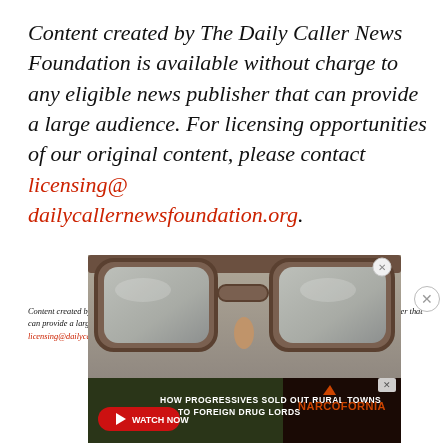Content created by The Daily Caller News Foundation is available without charge to any eligible news publisher that can provide a large audience. For licensing opportunities of our original content, please contact licensing@dailycallernewsfoundation.org.
Content created by The Daily Caller News Foundation is available without charge to any eligible news publisher that can provide a large audience. For licensing opportunities of our original content, please contact licensing@dailycallernewsfoundation.org.
[Figure (photo): Close-up photo of wooden eyeglasses frames from above, with advertisement banner overlay below showing 'HOW PROGRESSIVES SOLD OUT RURAL TOWNS TO FOREIGN DRUG LORDS' and 'NARCOFORNIA' with a red WATCH NOW button]